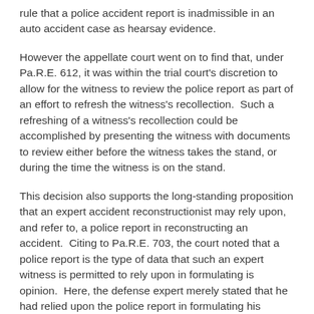rule that a police accident report is inadmissible in an auto accident case as hearsay evidence.
However the appellate court went on to find that, under Pa.R.E. 612, it was within the trial court's discretion to allow for the witness to review the police report as part of an effort to refresh the witness's recollection.  Such a refreshing of a witness's recollection could be accomplished by presenting the witness with documents to review either before the witness takes the stand, or during the time the witness is on the stand.
This decision also supports the long-standing proposition that an expert accident reconstructionist may rely upon, and refer to, a police report in reconstructing an accident.  Citing to Pa.R.E. 703, the court noted that a police report is the type of data that such an expert witness is permitted to rely upon in formulating is opinion.  Here, the defense expert merely stated that he had relied upon the police report in formulating his opinion and there was no effort on the part of that expert to simply, and impermissibly restate, opinions contained in the police report on central issues to the case.